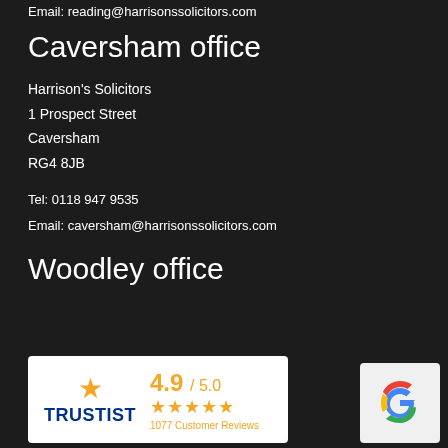Email: reading@harrisonssolicitors.com
Caversham office
Harrison's Solicitors
1 Prospect Street
Caversham
RG4 8JB
Tel: 0118 947 9535
Email: caversham@harrisonssolicitors.com
Woodley office
[Figure (logo): Trustist logo with 4.9/5.0 rating, 5 orange stars, 1077 Customer Reviews]